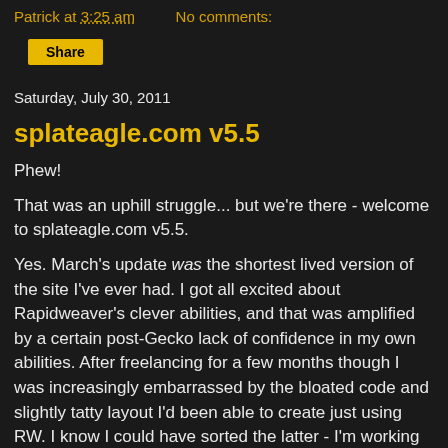Patrick at 3:25 am    No comments:
Share
Saturday, July 30, 2011
splateagle.com v5.5
Phew!
That was an uphill struggle... but we're there - welcome to splateagle.com v5.5.
Yes. March's update was the shortest lived version of the site I've ever had. I got all excited about Rapidweaver's clever abilities, and that was amplified by a certain post-Gecko lack of confidence in my own abilities. After freelancing for a few months though I was increasingly embarrassed by the bloated code and slightly tatty layout I'd been able to create just using RW. I know I could have sorted the latter - I'm working on a really exciting project for a client using